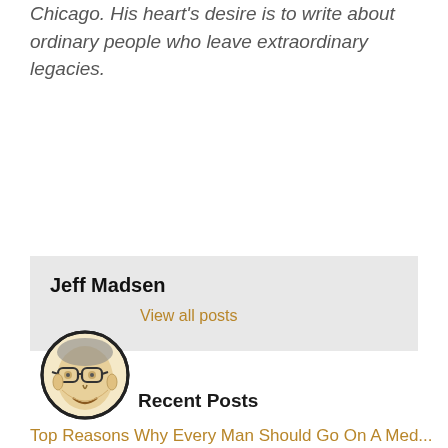Chicago. His heart's desire is to write about ordinary people who leave extraordinary legacies.
Jeff Madsen
View all posts
[Figure (illustration): Circular avatar illustration of Jeff Madsen, a man with glasses, drawn in a pen-and-ink style with warm golden tones]
Recent Posts
Top Reasons Why Every Man Should Go On A Med...